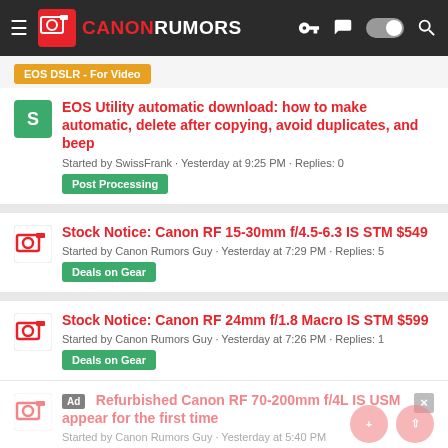CANON RUMORS
EOS DSLR - For Video
EOS Utility automatic download: how to make automatic, delete after copying, avoid duplicates, and beep
Started by SwissFrank · Yesterday at 9:25 PM · Replies: 0
Post Processing
Stock Notice: Canon RF 15-30mm f/4.5-6.3 IS STM $549
Started by Canon Rumors Guy · Yesterday at 7:29 PM · Replies: 5
Deals on Gear
Stock Notice: Canon RF 24mm f/1.8 Macro IS STM $599
Started by Canon Rumors Guy · Yesterday at 7:26 PM · Replies: 1
Deals on Gear
Refurbished Canon RF 70-200mm f/4L IS USM appear for the first time
Started by Canon Rumors Guy · Yesterday at 5:40 PM